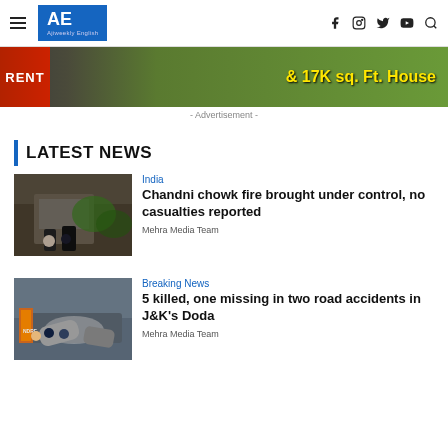AE Ajiweekly English
[Figure (photo): Advertisement banner showing a house for rent with text '& 17K sq. Ft. House' in yellow on green/dark background]
- Advertisement -
LATEST NEWS
[Figure (photo): People in coats standing near a building with fire/smoke damage and tree debris]
India
Chandni chowk fire brought under control, no casualties reported
Mehra Media Team
[Figure (photo): Rescue workers in orange vests examining overturned vehicle at accident site with rocky terrain]
Breaking News
5 killed, one missing in two road accidents in J&K's Doda
Mehra Media Team